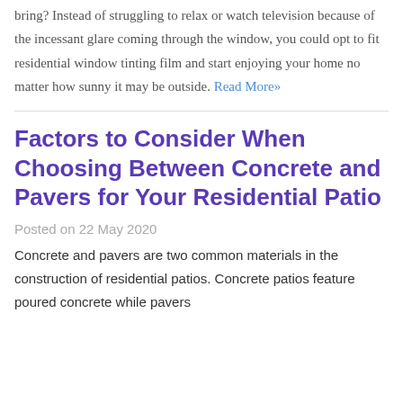bring? Instead of struggling to relax or watch television because of the incessant glare coming through the window, you could opt to fit residential window tinting film and start enjoying your home no matter how sunny it may be outside. Read More»
Factors to Consider When Choosing Between Concrete and Pavers for Your Residential Patio
Posted on 22 May 2020
Concrete and pavers are two common materials in the construction of residential patios. Concrete patios feature poured concrete while pavers